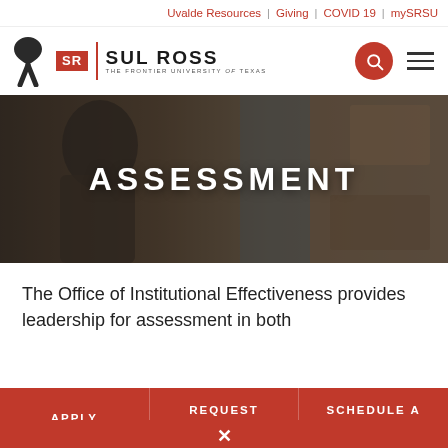Uvalde Resources | Giving | COVID 19 | mySRSU
[Figure (logo): Sul Ross State University logo with black ribbon and SR badge]
[Figure (photo): Hero banner photo of student in classroom with dark overlay showing 'ASSESSMENT' text]
ASSESSMENT
The Office of Institutional Effectiveness provides leadership for assessment in both
APPLY | REQUEST INFORMATION | SCHEDULE A VISIT